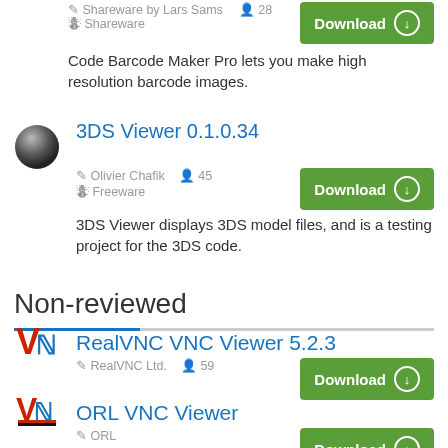Shareware by Lars Sams · 28 · Shareware
Code Barcode Maker Pro lets you make high resolution barcode images.
3DS Viewer 0.1.0.34
Olivier Chafik · 45 · Freeware
3DS Viewer displays 3DS model files, and is a testing project for the 3DS code.
Non-reviewed
RealVNC VNC Viewer 5.2.3
RealVNC Ltd. · 59
ORL VNC Viewer
ORL
ICEL VNC Viewer